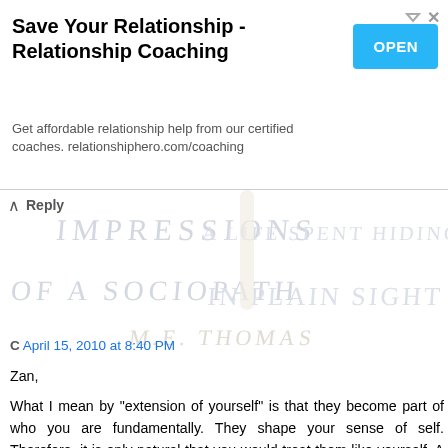[Figure (screenshot): Advertisement banner: 'Save Your Relationship - Relationship Coaching' with an OPEN button and subtext 'Get affordable relationship help from our certified coaches. relationshiphero.com/coaching']
Reply
C April 15, 2010 at 8:40 PM
Zan,

What I mean by "extension of yourself" is that they become part of who you are fundamentally. They shape your sense of self. Therefore, it is only natural that you would treat them like yourself. A sociopath could cut that link off in a flash if he wanted to, but as long as you do not give him a reason otherwise, he should still find pleasure in your company. The difference between this kind of relationship and empath/empath is that the sociopath will not feel about about how things end if they do.

And if your ex is really a sociopath, his avoidance of you is